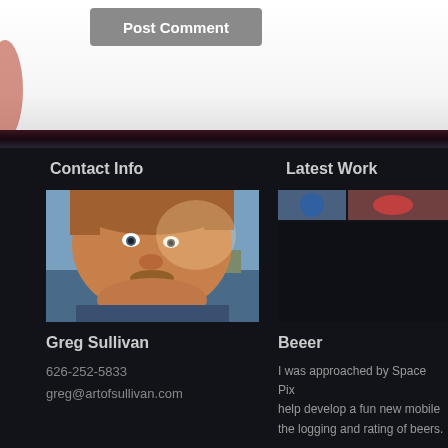[Figure (screenshot): Post Comment button on white/light grey background, partial webpage UI]
Contact Info
Latest Work
[Figure (photo): Headshot of Greg Sullivan, a man with light brown hair and mustache outdoors near water]
[Figure (photo): Partial thumbnail images of latest work, partially visible]
Greg Sullivan
Beeer
626-252-5833
greg@artofsullivan.com
I was approached by Space Pix to help develop a fun new mobile the logging and rating of beers.